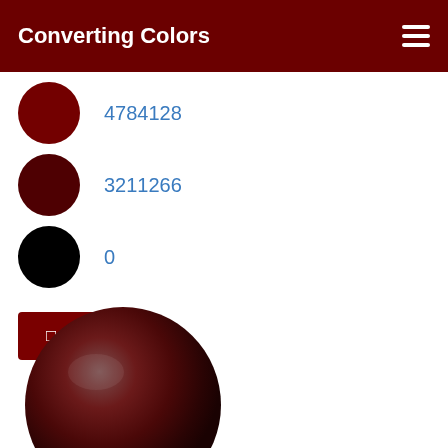Converting Colors
4784128
3211266
0
⊞ View as
[Figure (illustration): A 3D rendered sphere with dark red/maroon color and subtle lighting, showing a glossy surface with a gradient from brownish-gray on the edges to dark red in the center.]